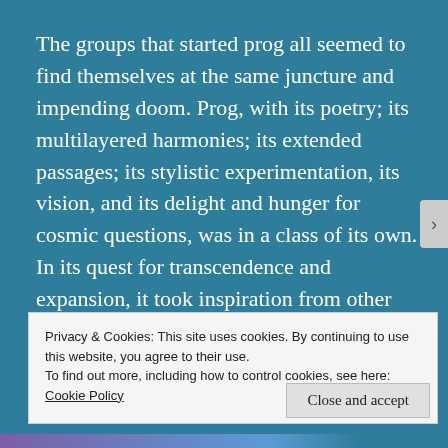The groups that started prog all seemed to find themselves at the same juncture and impending doom. Prog, with its poetry; its multilayered harmonies; its extended passages; its stylistic experimentation, its vision, and its delight and hunger for cosmic questions, was in a class of its own. In its quest for transcendence and expansion, it took inspiration from other genres, such as classical and jazz.
Privacy & Cookies: This site uses cookies. By continuing to use this website, you agree to their use.
To find out more, including how to control cookies, see here: Cookie Policy
Close and accept